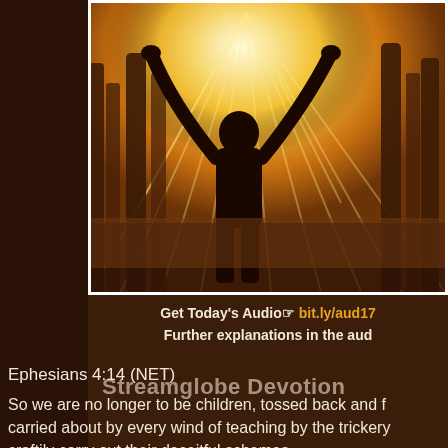[Figure (photo): Silhouette of a person with arms raised in worship/praise, standing in a golden forest with bright rays of light shining through the trees. Warm amber and golden tones. Watermark text 'Streamglobe Devotion' overlaid on lower portion of image.]
Get Today's Audio☞ bit.ly/aud17
Further explanations in the aud
Ephesians 4:14 (NET)
So we are no longer to be children, tossed back and forth, carried about by every wind of teaching by the trickery of, craftily carry out their deceitful schemes.